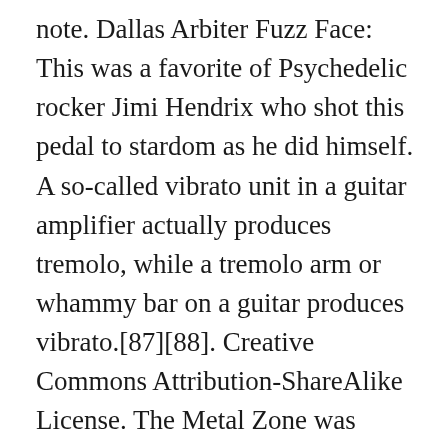note. Dallas Arbiter Fuzz Face: This was a favorite of Psychedelic rocker Jimi Hendrix who shot this pedal to stardom as he did himself. A so-called vibrato unit in a guitar amplifier actually produces tremolo, while a tremolo arm or whammy bar on a guitar produces vibrato.[87][88]. Creative Commons Attribution-ShareAlike License. The Metal Zone was released in 1991, as a successor to the HM-3 Hyper Metal. Typically, such function will be used with the original signal, resulting in a Harmonizer: the pitch is altered and combined with the original pitch to create two or more note harmonies. Fuzz effects: Arbiter Fuzz Face, Electro-Harmonix Big Muff, Shin-ei